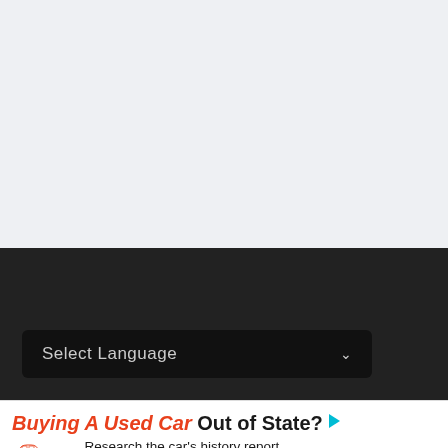[Figure (screenshot): Light gray empty top section of a webpage]
[Figure (screenshot): Dark navigation/footer bar with a 'Select Language' dropdown button]
[Figure (infographic): Advertisement for Bumper: 'Buying A Used Car Out of State? Research the car's history report' with VIN Number input field and SEARCH VIN button, and Bumper logo]